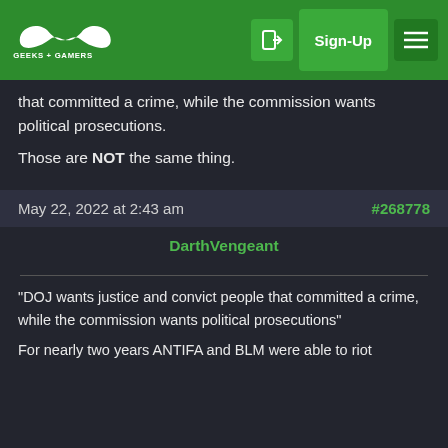GEEKS + GAMERS | Sign-Up
that committed a crime, while the commission wants political prosecutions.

Those are NOT the same thing.
May 22, 2022 at 2:43 am   #268778
DarthVengeant
“DOJ wants justice and convict people that committed a crime, while the commission wants political prosecutions”

For nearly two years ANTIFA and BLM were able to riot